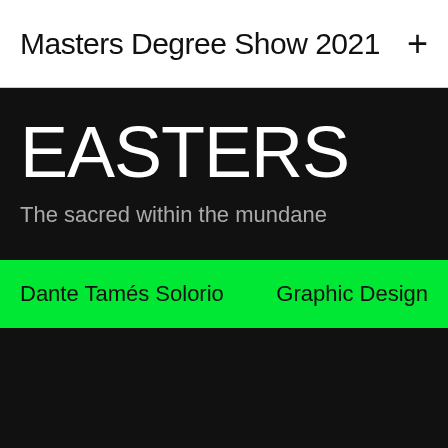Masters Degree Show 2021 +
EASTERS
The sacred within the mundane
Dante Tamés Solorio    Graphic Design